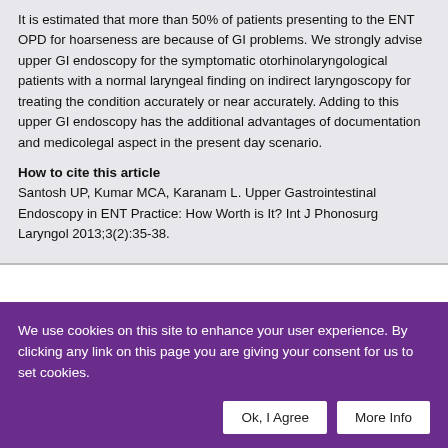It is estimated that more than 50% of patients presenting to the ENT OPD for hoarseness are because of GI problems. We strongly advise upper GI endoscopy for the symptomatic otorhinolaryngological patients with a normal laryngeal finding on indirect laryngoscopy for treating the condition accurately or near accurately. Adding to this upper GI endoscopy has the additional advantages of documentation and medicolegal aspect in the present day scenario.
How to cite this article
Santosh UP, Kumar MCA, Karanam L. Upper Gastrointestinal Endoscopy in ENT Practice: How Worth is It? Int J Phonosurg Laryngol 2013;3(2):35-38.
We use cookies on this site to enhance your user experience. By clicking any link on this page you are giving your consent for us to set cookies.